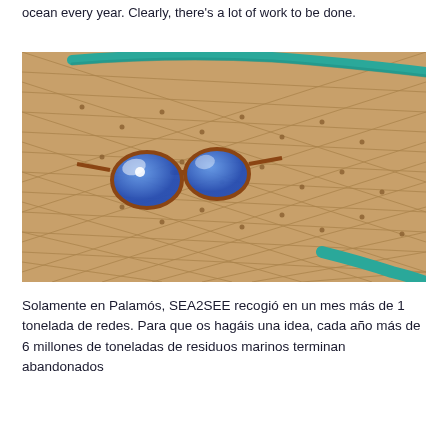ocean every year. Clearly, there's a lot of work to be done.
[Figure (photo): Sunglasses with blue reflective lenses resting on a brown fishing net, with a teal/green rope visible in the background.]
Solamente en Palamós, SEA2SEE recogió en un mes más de 1 tonelada de redes. Para que os hagáis una idea, cada año más de 6 millones de toneladas de residuos marinos terminan abandonados